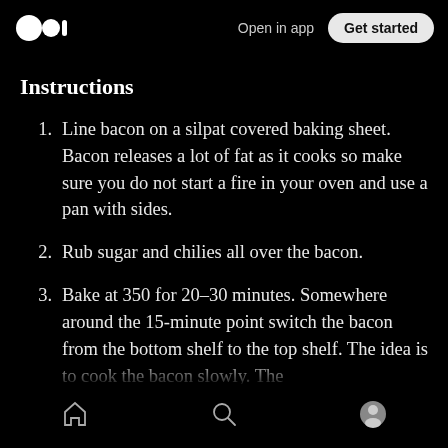Open in app | Get started
Instructions
1. Line bacon on a silpat covered baking sheet. Bacon releases a lot of fat as it cooks so make sure you do not start a fire in your oven and use a pan with sides.
2. Rub sugar and chilies all over the bacon.
3. Bake at 350 for 20–30 minutes. Somewhere around the 15-minute point switch the bacon from the bottom shelf to the top shelf. The idea is to cook the bacon slowly. The
Home | Search | Profile